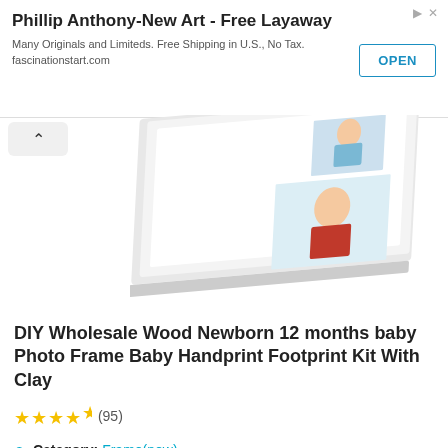[Figure (infographic): Advertisement banner for Phillip Anthony-New Art with OPEN button]
[Figure (photo): White wooden baby photo frame with multiple photo slots showing child photos, photographed at an angle]
DIY Wholesale Wood Newborn 12 months baby Photo Frame Baby Handprint Footprint Kit With Clay
★★★★½ (95)
Category: Frame(new)
Supplier: Yiwu Oyue Imp. & Exp. Co., Ltd.